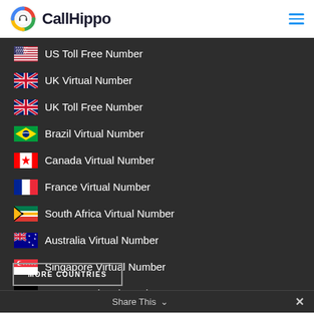CallHippo
US Toll Free Number
UK Virtual Number
UK Toll Free Number
Brazil Virtual Number
Canada Virtual Number
France Virtual Number
South Africa Virtual Number
Australia Virtual Number
Singapore Virtual Number
Germany Virtual Number
MORE COUNTRIES
Share This